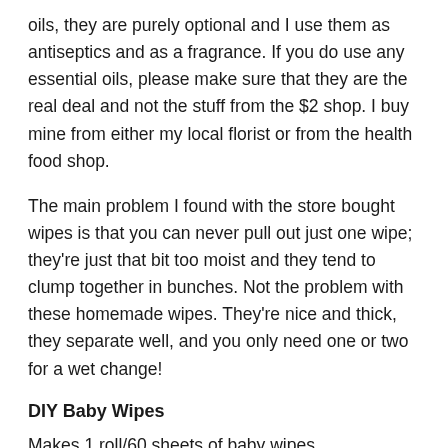oils, they are purely optional and I use them as antiseptics and as a fragrance. If you do use any essential oils, please make sure that they are the real deal and not the stuff from the $2 shop. I buy mine from either my local florist or from the health food shop.
The main problem I found with the store bought wipes is that you can never pull out just one wipe; they're just that bit too moist and they tend to clump together in bunches. Not the problem with these homemade wipes. They're nice and thick, they separate well, and you only need one or two for a wet change!
DIY Baby Wipes
Makes 1 roll/60 sheets of baby wipes
1 teaspoon unscented moisturiser